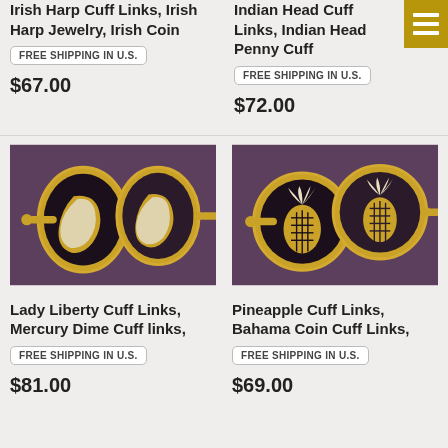Irish Harp Cuff Links, Irish Harp Jewelry, Irish Coin
FREE SHIPPING IN U.S.
$67.00
Indian Head Cuff Links, Indian Head Penny Cuff
FREE SHIPPING IN U.S.
$72.00
[Figure (photo): Two gold Lady Liberty / Mercury Dime cuff links on dark purple background]
Lady Liberty Cuff Links, Mercury Dime Cuff links,
FREE SHIPPING IN U.S.
$81.00
[Figure (photo): Two gold pineapple Bahama coin cuff links on dark purple background]
Pineapple Cuff Links, Bahama Coin Cuff Links,
FREE SHIPPING IN U.S.
$69.00